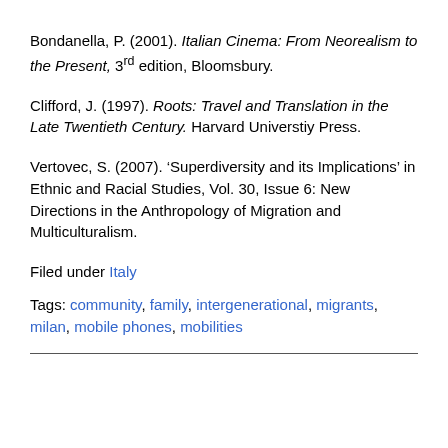Bondanella, P. (2001). Italian Cinema: From Neorealism to the Present, 3rd edition, Bloomsbury.
Clifford, J. (1997). Roots: Travel and Translation in the Late Twentieth Century. Harvard Universtiy Press.
Vertovec, S. (2007). ‘Superdiversity and its Implications’ in Ethnic and Racial Studies, Vol. 30, Issue 6: New Directions in the Anthropology of Migration and Multiculturalism.
Filed under Italy
Tags: community, family, intergenerational, migrants, milan, mobile phones, mobilities